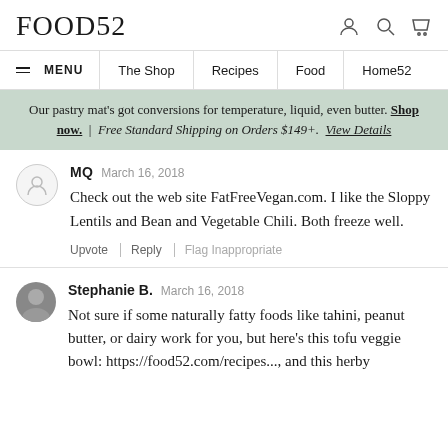FOOD52
MENU | The Shop | Recipes | Food | Home52
Our pastry mat's got conversions for temperature, liquid, even butter. Shop now. | Free Standard Shipping on Orders $149+. View Details
MQ  March 16, 2018
Check out the web site FatFreeVegan.com. I like the Sloppy Lentils and Bean and Vegetable Chili. Both freeze well.
Upvote | Reply | Flag Inappropriate
Stephanie B.  March 16, 2018
Not sure if some naturally fatty foods like tahini, peanut butter, or dairy work for you, but here's this tofu veggie bowl: https://food52.com/recipes..., and this herby